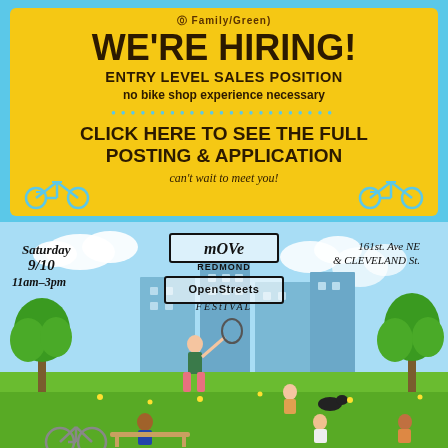Go [Family/Green?]
WE'RE HIRING!
ENTRY LEVEL SALES POSITION
no bike shop experience necessary
CLICK HERE TO SEE THE FULL POSTING & APPLICATION
can't wait to meet you!
[Figure (illustration): Outdoor festival scene with cartoon people in a park. Text overlay: Saturday 9/10, 11am-3pm, Move Redmond Open Streets Festival, 161st Ave NE & Cleveland St.]